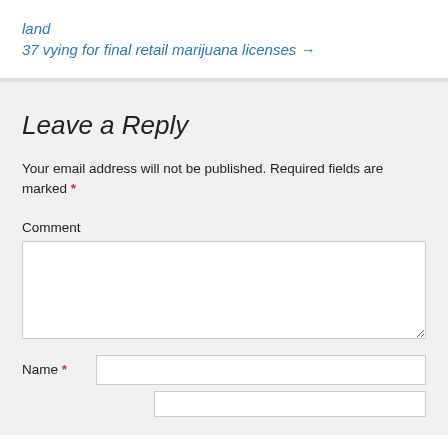land
37 vying for final retail marijuana licenses →
Leave a Reply
Your email address will not be published. Required fields are marked *
Comment
Name *